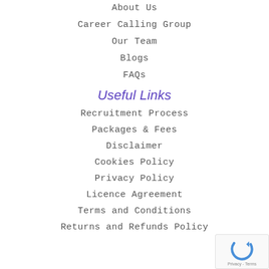About Us
Career Calling Group
Our Team
Blogs
FAQs
Useful Links
Recruitment Process
Packages & Fees
Disclaimer
Cookies Policy
Privacy Policy
Licence Agreement
Terms and Conditions
Returns and Refunds Policy
[Figure (logo): reCAPTCHA badge with spinning arrow logo and Privacy - Terms text]